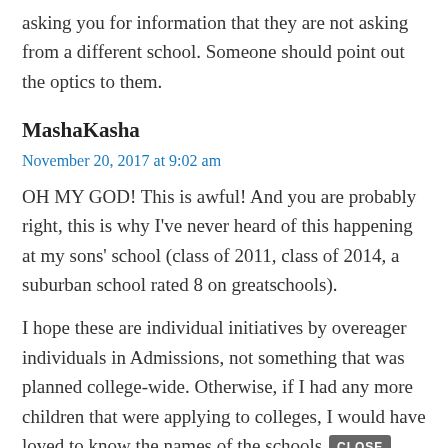asking you for information that they are not asking from a different school. Someone should point out the optics to them.
MashaKasha
November 20, 2017 at 9:02 am
OH MY GOD! This is awful! And you are probably right, this is why I've never heard of this happening at my sons' school (class of 2011, class of 2014, a suburban school rated 8 on greatschools).
I hope these are individual initiatives by overeager individuals in Admissions, not something that was planned college-wide. Otherwise, if I had any more children that were applying to colleges, I would have loved to know the names of the schools doing this, so my kids would not accidentally apply there. Utterly ridiculous.